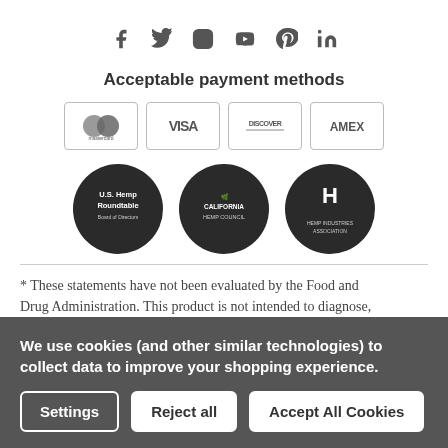[Figure (infographic): Social media icons: Facebook, Twitter, Instagram, YouTube, Pinterest, LinkedIn]
Acceptable payment methods
[Figure (infographic): Payment method badges: Mastercard, Visa, Discover, Amex]
[Figure (infographic): Organization logos: U.S. Hemp Roundtable Board of Directors, California Hemp Council, Hemp Industries Association]
* These statements have not been evaluated by the Food and Drug Administration. This product is not intended to diagnose,
We use cookies (and other similar technologies) to collect data to improve your shopping experience.
Settings | Reject all | Accept All Cookies